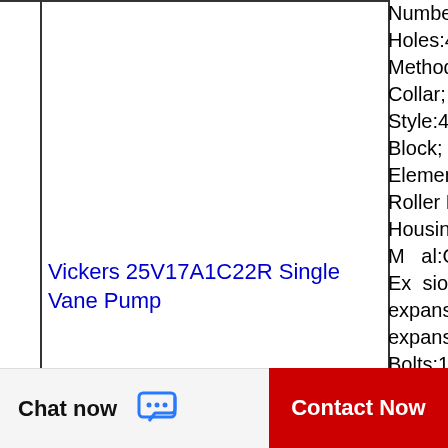Number of Mounting Holes:4; Mounting Method:Concentric Collar; Housing Style:4 Bolt Pillow Block; Rolling Element:Spherical Roller Bearing; Housing Material:Cast Iron; Expansion / Non-expansion:Non-expansion; Mount Bolts:1/2 Inch; Relubricatable:Yes; Insert Part Number:B224; Seals:Spring Loaded Lip;
Vickers 25V17A1C22R Single Vane Pump
[Figure (other): WhatsApp contact button overlay with green circle icon and 'WhatsApp Online' label]
Chat now
Contact Now